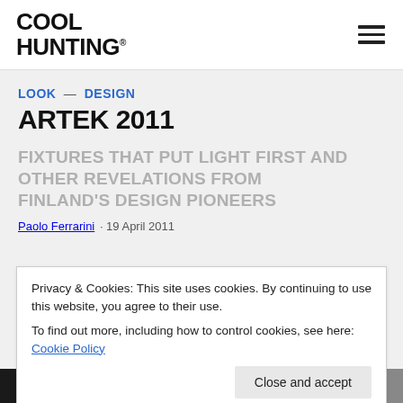COOL HUNTING®
LOOK — DESIGN
ARTEK 2011
FIXTURES THAT PUT LIGHT FIRST AND OTHER REVELATIONS FROM FINLAND'S DESIGN PIONEERS
Paolo Ferrarini · 19 April 2011
Privacy & Cookies: This site uses cookies. By continuing to use this website, you agree to their use.
To find out more, including how to control cookies, see here: Cookie Policy
Close and accept
[Figure (photo): Bottom image strip showing dark/grayscale design images]